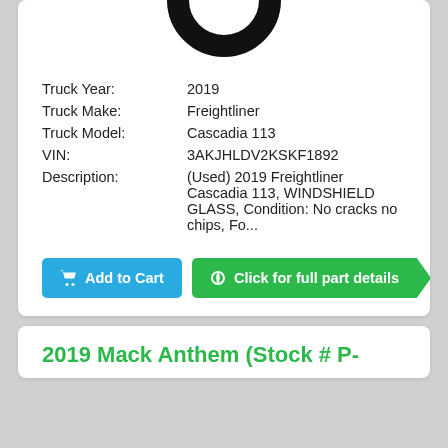[Figure (illustration): Partial black tire/wheel icon at top of product card]
| Truck Year: | 2019 |
| Truck Make: | Freightliner |
| Truck Model: | Cascadia 113 |
| VIN: | 3AKJHLDV2KSKF1892 |
| Description: | (Used) 2019 Freightliner Cascadia 113, WINDSHIELD GLASS, Condition: No cracks no chips, Fo... |
Add to Cart
Click for full part details
2019 Mack Anthem (Stock # P-